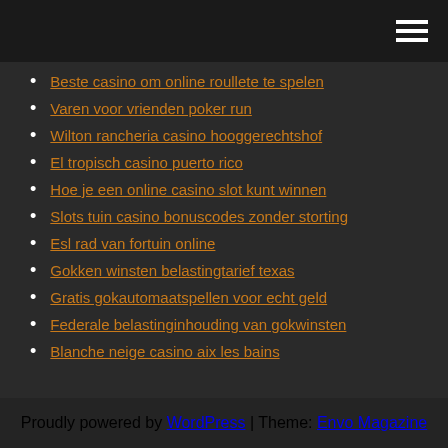[hamburger menu icon]
Beste casino om online roullete te spelen
Varen voor vrienden poker run
Wilton rancheria casino hooggerechtshof
El tropisch casino puerto rico
Hoe je een online casino slot kunt winnen
Slots tuin casino bonuscodes zonder storting
Esl rad van fortuin online
Gokken winsten belastingtarief texas
Gratis gokautomaatspellen voor echt geld
Federale belastinginhouding van gokwinsten
Blanche neige casino aix les bains
Proudly powered by WordPress | Theme: Envo Magazine